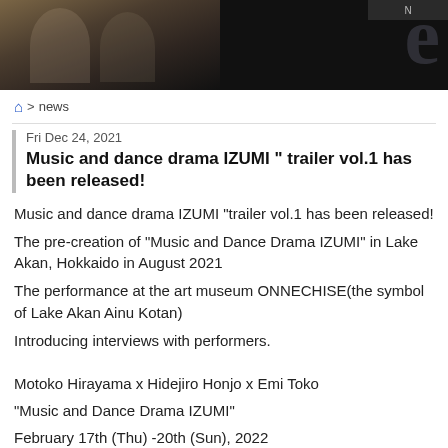[Figure (photo): Header banner with dark background showing two figures in traditional costume on the left, and a large stylized letter 'e' logo on the right]
🏠 > news
Fri Dec 24, 2021
Music and dance drama IZUMI " trailer vol.1 has been released!
Music and dance drama IZUMI "trailer vol.1 has been released!
The pre-creation of "Music and Dance Drama IZUMI" in Lake Akan, Hokkaido in August 2021
The performance at the art museum ONNECHISE(the symbol of Lake Akan Ainu Kotan)
Introducing interviews with performers.
Motoko Hirayama x Hidejiro Honjo x Emi Toko
"Music and Dance Drama IZUMI"
February 17th (Thu) -20th (Sun), 2022